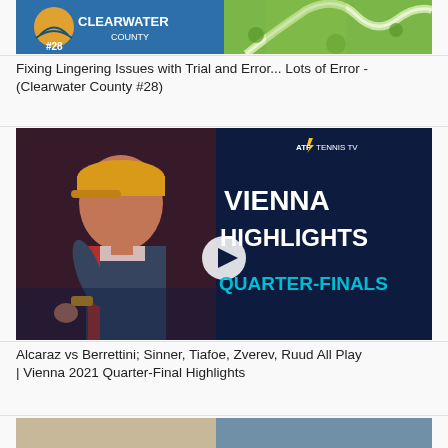[Figure (screenshot): Thumbnail showing Clearwater County #28 logo on left (blue background with sun/wave icon) and aerial view of green landscape/golf course on right]
Fixing Lingering Issues with Trial and Error... Lots of Error - (Clearwater County #28)
[Figure (screenshot): ATP Tennis TV thumbnail showing a tennis player wearing a yellow cap and blue/red/white outfit, with text VIENNA HIGHLIGHTS QUARTER-FINALS in white and blue letters on dark blue background. A play button circle is visible in the center.]
Alcaraz vs Berrettini; Sinner, Tiafoe, Zverev, Ruud All Play | Vienna 2021 Quarter-Final Highlights
[Figure (screenshot): Partial thumbnail visible at bottom of page]